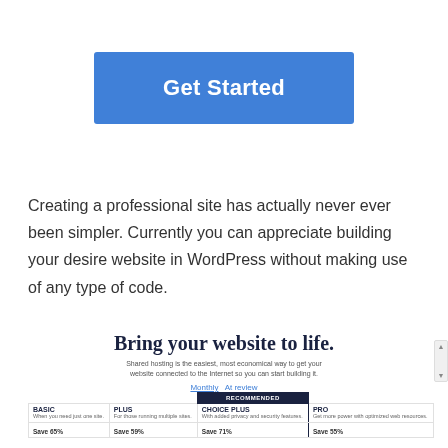[Figure (other): Blue 'Get Started' button with white bold text on a blue (#4080d8) rounded rectangle background]
Creating a professional site has actually never ever been simpler. Currently you can appreciate building your desire website in WordPress without making use of any type of code.
Bring your website to life.
Shared hosting is the easiest, most economical way to get your website connected to the Internet so you can start building it.
Monthly  At review
| BASIC | PLUS | CHOICE PLUS | PRO |
| --- | --- | --- | --- |
| Wren you need just one site. | For those running multiple sites. | With added privacy and security features. | Get more power with optimized web resources. |
| Save 65% | Save 59% | Save 71% | Save 55% |